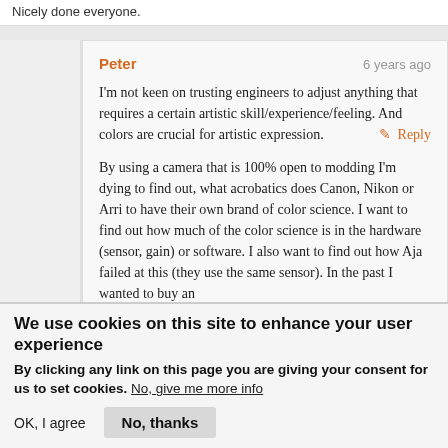Nicely done everyone.
Peter  6 years ago
I'm not keen on trusting engineers to adjust anything that requires a certain artistic skill/experience/feeling. And colors are crucial for artistic expression.

By using a camera that is 100% open to modding I'm dying to find out, what acrobatics does Canon, Nikon or Arri to have their own brand of color science. I want to find out how much of the color science is in the hardware (sensor, gain) or software. I also want to find out how Aja failed at this (they use the same sensor). In the past I wanted to buy an
We use cookies on this site to enhance your user experience
By clicking any link on this page you are giving your consent for us to set cookies. No, give me more info
OK, I agree   No, thanks